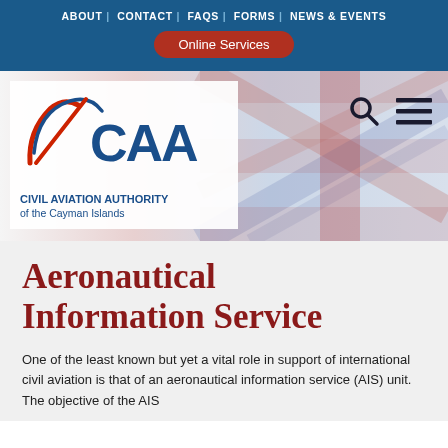ABOUT | CONTACT | FAQS | FORMS | NEWS & EVENTS
Online Services
[Figure (logo): CAA Civil Aviation Authority of the Cayman Islands logo with swoosh graphic, set against a UK flag background with search and menu icons]
Aeronautical Information Service
One of the least known but yet a vital role in support of international civil aviation is that of an aeronautical information service (AIS) unit. The objective of the AIS